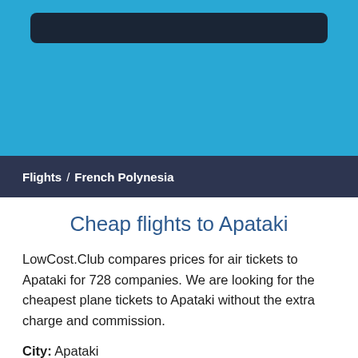[Figure (screenshot): Blue hero banner with dark rounded rectangle element at the top]
Flights / French Polynesia
Cheap flights to Apataki
LowCost.Club compares prices for air tickets to Apataki for 728 companies. We are looking for the cheapest plane tickets to Apataki without the extra charge and commission.
City: Apataki